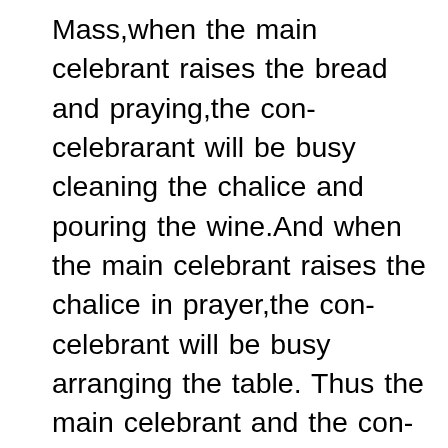Mass,when the main celebrant raises the bread and praying,the con-celebrarant will be busy cleaning the chalice and pouring the wine.And when the main celebrant raises the chalice in prayer,the con-celebrant will be busy arranging the table. Thus the main celebrant and the con-celebrant complete their routine in separation, and the congregation complete their routine in isolation thinking singing is more important than offering themselves with the bread & wine and responding “ Blessed be GOD forever. ” and bow with him in reverence. Is this Oneness ?! Is this Togetherness?! Is this in communion